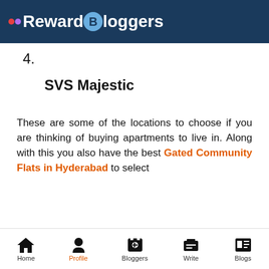Reward Bloggers
4.
SVS Majestic
These are some of the locations to choose if you are thinking of buying apartments to live in. Along with this you also have the best Gated Community Flats in Hyderabad to select
Home | Profile | Bloggers | Write | Blogs